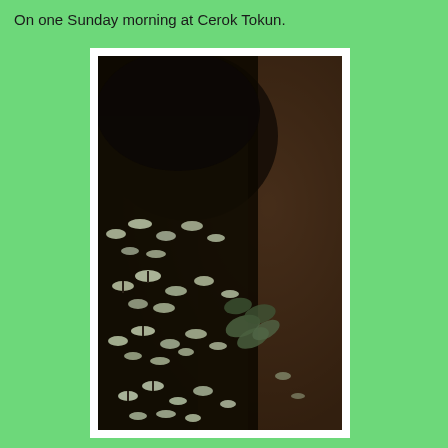On one Sunday morning at Cerok Tokun.
[Figure (photo): Close-up photograph of a moss-covered tree trunk or log densely covered with small white mushrooms (bracket fungi) growing in clusters, with some green leaves visible. The background is dark brown and blurred. The image is in dark, moody tones with the fungi appearing pale/white against the dark bark.]